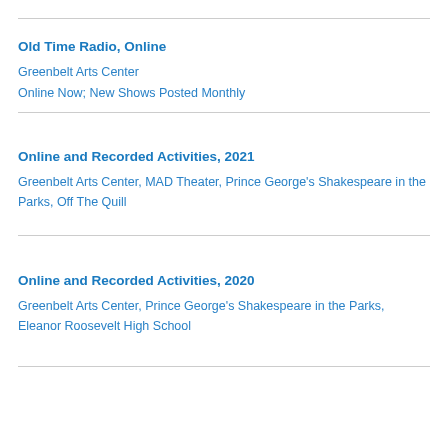Old Time Radio, Online
Greenbelt Arts Center
Online Now; New Shows Posted Monthly
Online and Recorded Activities, 2021
Greenbelt Arts Center, MAD Theater, Prince George's Shakespeare in the Parks, Off The Quill
Online and Recorded Activities, 2020
Greenbelt Arts Center, Prince George's Shakespeare in the Parks, Eleanor Roosevelt High School